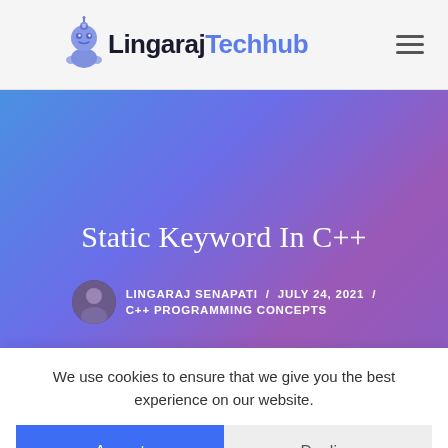LingarajTechhub
[Figure (illustration): LingarajTechhub website screenshot showing a hero banner with gradient background (blue to purple) containing the article title 'Static Keyword In C++', author info 'LINGARAJ SENAPATI / JULY 24, 2021 / C++ PROGRAMMING CONCEPTS', and a cookie consent dialog with Accept and Decline buttons.]
Static Keyword In C++
LINGARAJ SENAPATI / JULY 24, 2021 / C++ PROGRAMMING CONCEPTS
We use cookies to ensure that we give you the best experience on our website.